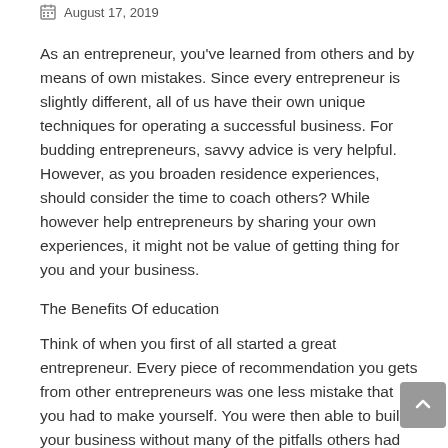August 17, 2019
As an entrepreneur, you've learned from others and by means of own mistakes. Since every entrepreneur is slightly different, all of us have their own unique techniques for operating a successful business. For budding entrepreneurs, savvy advice is very helpful. However, as you broaden residence experiences, should consider the time to coach others? While however help entrepreneurs by sharing your own experiences, it might not be value of getting thing for you and your business.
The Benefits Of education
Think of when you first of all started a great entrepreneur. Every piece of recommendation you gets from other entrepreneurs was one less mistake that you had to make yourself. You were then able to build your business without many of the pitfalls others had encountered. Without these experienced business